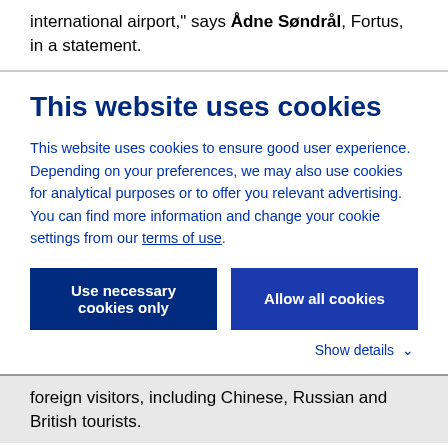international airport," says Ådne Søndrål, Fortus, in a statement.
This website uses cookies
This website uses cookies to ensure good user experience. Depending on your preferences, we may also use cookies for analytical purposes or to offer you relevant advertising. You can find more information and change your cookie settings from our terms of use.
Use necessary cookies only | Allow all cookies
Show details
foreign visitors, including Chinese, Russian and British tourists.
"We have been looking for a suitable opportunity in Finland for over 5 years. Outlets play an important role in